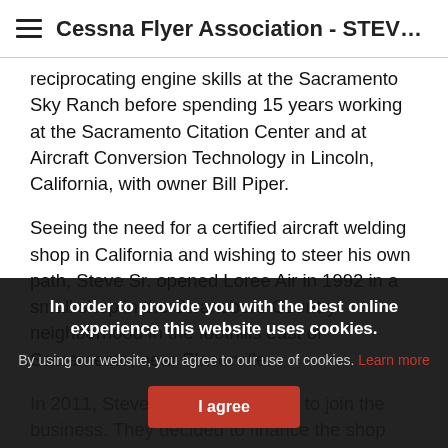Cessna Flyer Association - STEV...
reciprocating engine skills at the Sacramento Sky Ranch before spending 15 years working at the Sacramento Citation Center and at Aircraft Conversion Technology in Lincoln, California, with owner Bill Piper.

Seeing the need for a certified aircraft welding shop in California and wishing to steer his own path, Steve Sr. opened Loree Air in 1992 in a small shop in the Swansboro Country neighborhood in the foothills east of Sacramento, near Placerville.

In 2011, Steve Sr. invited his son to join the business. They decided to finance the shop needed to grow ... support two ...
In order to provide you with the best online experience this website uses cookies.

By using our website, you agree to our use of cookies. Learn more

I agree